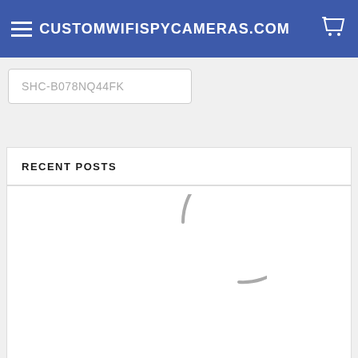CUSTOMWIFISPYCAMERAS.COM
SHC-B078NQ44FK
RECENT POSTS
[Figure (other): Loading spinner — a partial circle arc drawn in gray, indicating content is loading]